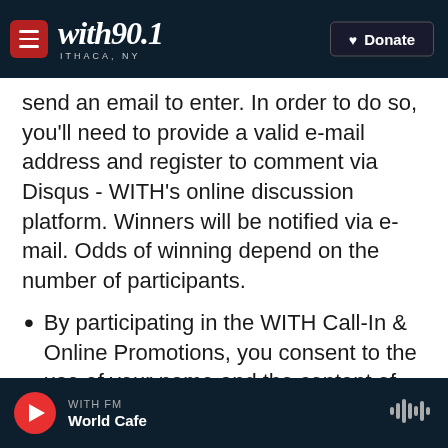with90.1 ITHACA, NY | Donate
send an email to enter. In order to do so, you'll need to provide a valid e-mail address and register to comment via Disqus - WITH's online discussion platform. Winners will be notified via e-mail. Odds of winning depend on the number of participants.
By participating in the WITH Call-In & Online Promotions, you consent to the use of your name and the content of your call to the station, for all WITH publicity purposes, without
WITH FM | World Cafe